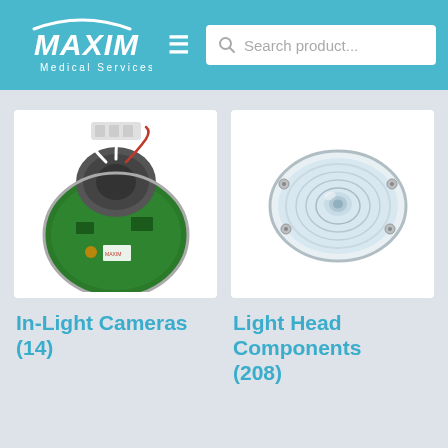[Figure (logo): Maxim Medical Services logo in white on teal header]
[Figure (screenshot): Search product input field with magnifying glass icon]
[Figure (photo): In-Light Camera product photo: circuit board and wiring assembly viewed from below]
[Figure (photo): Light Head Components product photo: clear circular lens/dome component]
In-Light Cameras (14)
Light Head Components (208)